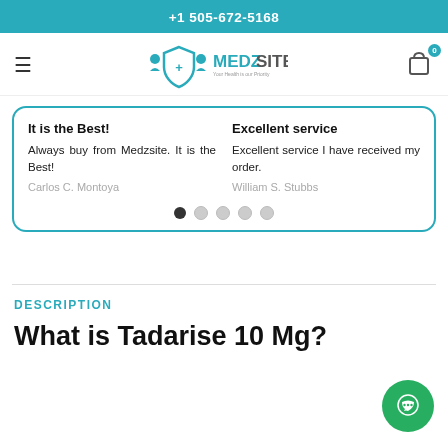+1 505-672-5168
[Figure (logo): MedzSite logo with shield and person icons, teal color. Tagline: Your Health is our Priority.]
It is the Best! — Always buy from Medzsite. It is the Best! — Carlos C. Montoya
Excellent service — Excellent service I have received my order. — William S. Stubbs
DESCRIPTION
What is Tadarise 10 Mg?